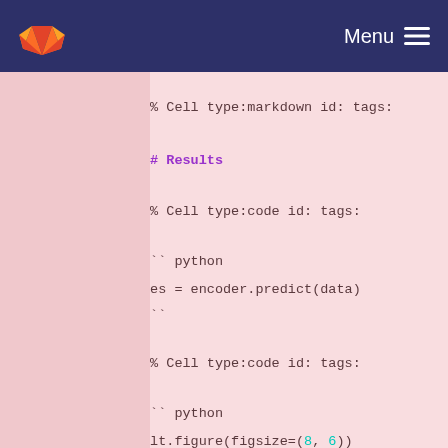GitLab navigation — Menu
361   - %% Cell type:markdown id: tags:
      -
365   - ## Results
      -
368   - %% Cell type:code id: tags:
      -
373   - ``` python
374   - res = encoder.predict(data)
      - ```
      -
377   - %% Cell type:code id: tags:
      -
382   - ``` python
383   - plt.figure(figsize=(8, 6))
384   - extent = (-0.2, 1.5, -0.4, 1.8)
385   - plt.hexbin(res[:, 0], res[:, 1], gridsize=(60, 30), mincnt=1, C=labels.FeH, extent=extent)
386   - plt.colorbar();
      - ```